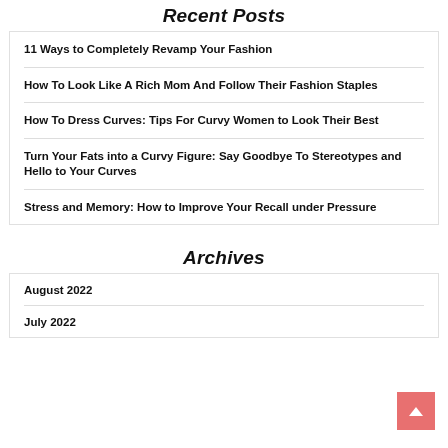Recent Posts
11 Ways to Completely Revamp Your Fashion
How To Look Like A Rich Mom And Follow Their Fashion Staples
How To Dress Curves: Tips For Curvy Women to Look Their Best
Turn Your Fats into a Curvy Figure: Say Goodbye To Stereotypes and Hello to Your Curves
Stress and Memory: How to Improve Your Recall under Pressure
Archives
August 2022
July 2022